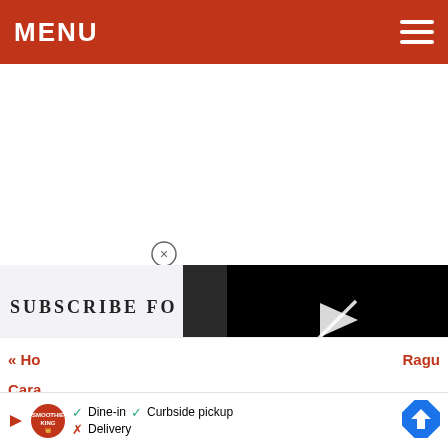MENU
SUBSCRIBE fo
[Figure (screenshot): Video player showing error message: This video file cannot be played. (Error Code: 224003) with a play arrow icon on a black background]
This video file cannot be played. (Error Code: 224003)
« Ho
Ragu
Cara
Dine-in  Curbside pickup  Delivery